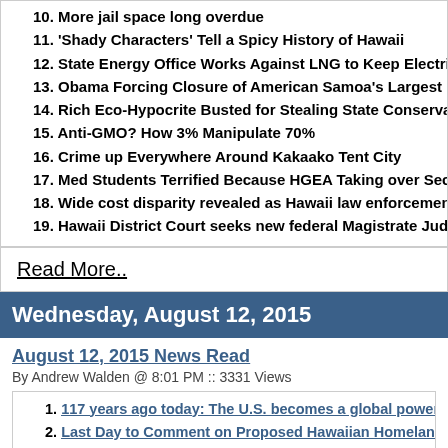10. More jail space long overdue
11. 'Shady Characters' Tell a Spicy History of Hawaii
12. State Energy Office Works Against LNG to Keep Electricity Expensive
13. Obama Forcing Closure of American Samoa's Largest Private Employer
14. Rich Eco-Hypocrite Busted for Stealing State Conservation Land
15. Anti-GMO? How 3% Manipulate 70%
16. Crime up Everywhere Around Kakaako Tent City
17. Med Students Terrified Because HGEA Taking over Security at JABSOM
18. Wide cost disparity revealed as Hawaii law enforcement agencies replace
19. Hawaii District Court seeks new federal Magistrate Judge
Read More..
Wednesday, August 12, 2015
August 12, 2015 News Read
By Andrew Walden @ 8:01 PM :: 3331 Views
1. 117 years ago today: The U.S. becomes a global power
2. Last Day to Comment on Proposed Hawaiian Homelands Rules
3. Hawaii DoE to request School Improvement Grant Waiver
4. Renewables Offer No Bang for Your Megawatt
5. NOAA Proposes New Monk Seal Rules
6. Bids are in for the next rail section, but details are a secret